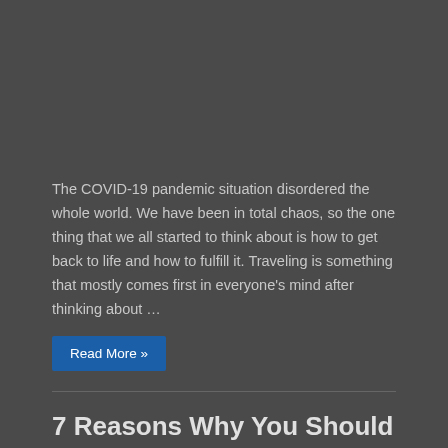The COVID-19 pandemic situation disordered the whole world. We have been in total chaos, so the one thing that we all started to think about is how to get back to life and how to fulfill it. Traveling is something that mostly comes first in everyone's mind after thinking about …
Read More »
7 Reasons Why You Should Visit Dubrovnik at Least Once in Your Lifetime
10/01/2022  Tips, Travel  Comments Off